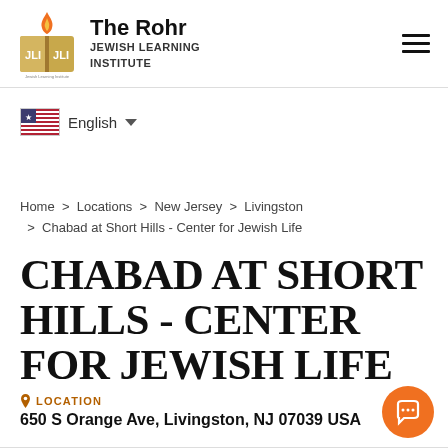The Rohr JEWISH LEARNING INSTITUTE
English
Home > Locations > New Jersey > Livingston > Chabad at Short Hills - Center for Jewish Life
CHABAD AT SHORT HILLS - CENTER FOR JEWISH LIFE
LOCATION
650 S Orange Ave, Livingston, NJ 07039 USA